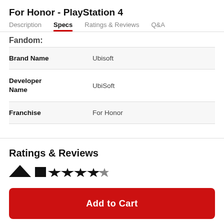For Honor - PlayStation 4
Description | Specs | Ratings & Reviews | Q&A
Fandom:
|  |  |
| --- | --- |
| Brand Name | Ubisoft |
| Developer Name | UbiSoft |
| Franchise | For Honor |
Ratings & Reviews
[Figure (other): Rating stars icons partially visible at bottom of page]
Add to Cart